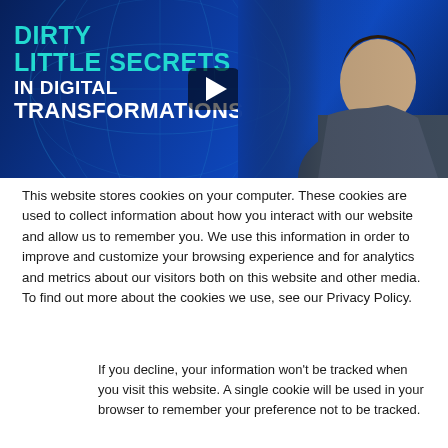[Figure (screenshot): Video thumbnail with dark blue background, globe graphic, white and cyan bold text reading 'DIRTY LITTLE SECRETS IN DIGITAL TRANSFORMATIONS', a play button overlay, and a man in a grey suit on the right side.]
This website stores cookies on your computer. These cookies are used to collect information about how you interact with our website and allow us to remember you. We use this information in order to improve and customize your browsing experience and for analytics and metrics about our visitors both on this website and other media. To find out more about the cookies we use, see our Privacy Policy.
If you decline, your information won't be tracked when you visit this website. A single cookie will be used in your browser to remember your preference not to be tracked.